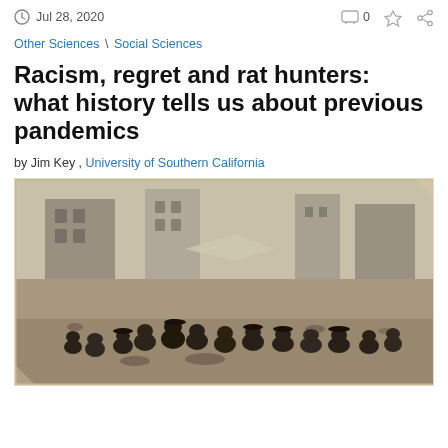Jul 28, 2020
Other Sciences \ Social Sciences
Racism, regret and rat hunters: what history tells us about previous pandemics
by Jim Key , University of Southern California
[Figure (photo): Historical black and white photograph showing a group of men crouched on the ground in a dirt field with partially constructed or damaged buildings in the background, appearing to hunt rats during a historical pandemic.]